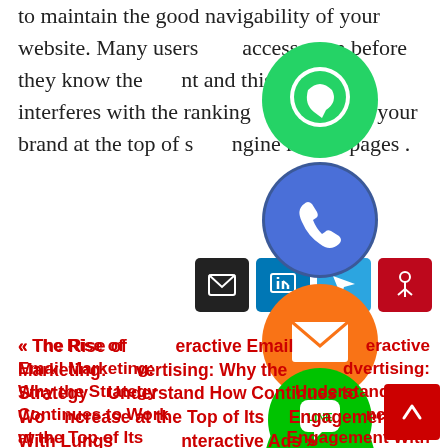to maintain the good navigability of your website. Many users access even before they know the content and this directly interferes with the ranking that places your brand at the top of search engine results pages .
[Figure (infographic): Social media share buttons overlay: WhatsApp (green), phone/call (blue), email (orange), Line (green), Viber (purple), close (green X). Row of share icon buttons: email (black), LinkedIn (blue), Telegram (blue), Pinterest (red).]
« The Rise of Interactive Email Marketing: Why the Strategy Continues to Work at the Top of Its Lungs
Advertising: Understand How to Increase Engagement With Interactive Ads »